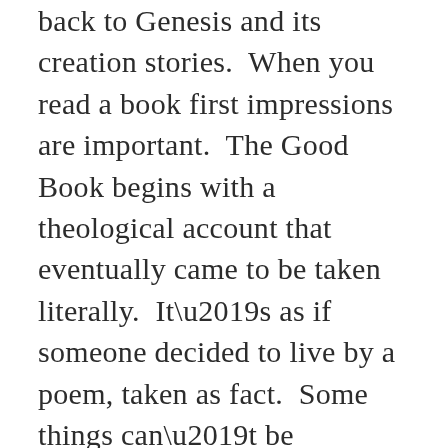back to Genesis and its creation stories.  When you read a book first impressions are important.  The Good Book begins with a theological account that eventually came to be taken literally.  It’s as if someone decided to live by a poem, taken as fact.  Some things can’t be expressed except with metaphorical language.  But since this creation takes place up front, any challenge to it is an affront to the Almighty.